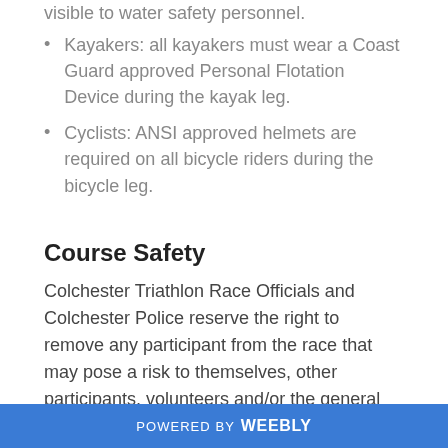the swim leg. This will help keep swimmers visible to water safety personnel.
Kayakers: all kayakers must wear a Coast Guard approved Personal Flotation Device during the kayak leg.
Cyclists: ANSI approved helmets are required on all bicycle riders during the bicycle leg.
Course Safety
Colchester Triathlon Race Officials and Colchester Police reserve the right to remove any participant from the race that may pose a risk to themselves, other participants, volunteers and/or the general
POWERED BY weebly